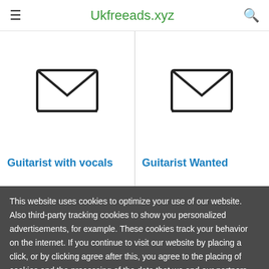Ukfreeads.xyz
[Figure (illustration): Placeholder image icon for Guitarist with vocals listing]
Guitarist with vocals
[Figure (illustration): Placeholder image icon for Guitarist Wanted listing]
Guitarist Wanted
This website uses cookies to optimize your use of our website. Also third-party tracking cookies to show you personalized advertisements, for example. These cookies track your behavior on the internet. If you continue to visit our website by placing a click, or by clicking agree after this, you agree to the placing of cookies and the processing of the data that we and our partners obtain as a result. More information I Understand